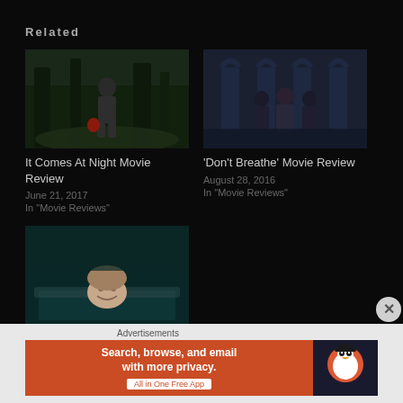Related
[Figure (photo): Movie still from 'It Comes At Night' – person standing in a forest holding a red object]
It Comes At Night Movie Review
June 21, 2017
In "Movie Reviews"
[Figure (photo): Movie still from 'Don't Breathe' – three figures standing in front of stone arches at night]
'Don't Breathe' Movie Review
August 28, 2016
In "Movie Reviews"
[Figure (photo): Movie still from 'A Quiet Place' – woman in a bathtub scene]
'A Quiet Place' Movie
Advertisements
[Figure (infographic): DuckDuckGo advertisement banner: 'Search, browse, and email with more privacy. All in One Free App']